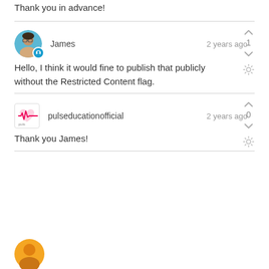Thank you in advance!
James   2 years ago
Hello, I think it would fine to publish that publicly without the Restricted Content flag.
pulseducationofficial   2 years ago
Thank you James!